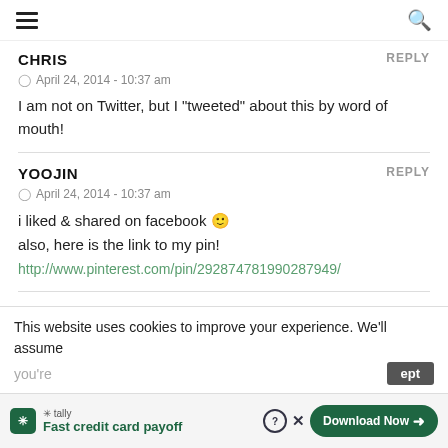≡   🔍
CHRIS    REPLY
April 24, 2014 - 10:37 am
I am not on Twitter, but I "tweeted" about this by word of mouth!
YOOJIN    REPLY
April 24, 2014 - 10:37 am
i liked & shared on facebook 🙂
also, here is the link to my pin!
http://www.pinterest.com/pin/292874781990287949/
This website uses cookies to improve your experience. We'll assume you're
Tally — Fast credit card payoff   Download Now →